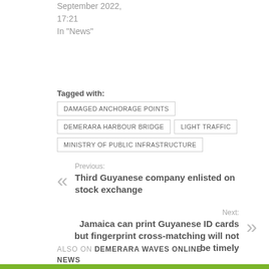September 2022, 17:21
In "News"
Tagged with: DAMAGED ANCHORAGE POINTS | DEMERARA HARBOUR BRIDGE | LIGHT TRAFFIC | MINISTRY OF PUBLIC INFRASTRUCTURE
Previous: Third Guyanese company enlisted on stock exchange
Next: Jamaica can print Guyanese ID cards but fingerprint cross-matching will not be timely
ALSO ON DEMERARA WAVES ONLINE NEWS